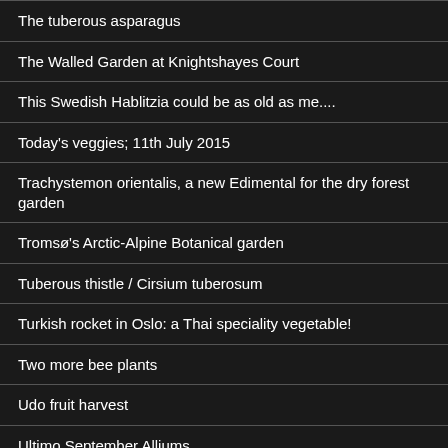The tuberous asparagus
The Walled Garden at Knightshayes Court
This Swedish Hablitzia could be as old as me....
Today's veggies; 11th July 2015
Trachystemon orientalis, a new Edimental for the dry forest garden
Tromsø's Arctic-Alpine Botanical garden
Tuberous thistle / Cirsium tuberosum
Turkish rocket in Oslo: a Thai speciality vegetable!
Two more bee plants
Udo fruit harvest
Ultimo September Alliums
University of Washington